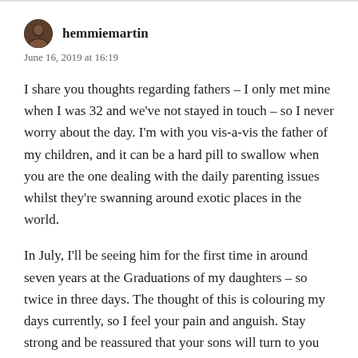hemmiemartin
June 16, 2019 at 16:19
I share you thoughts regarding fathers – I only met mine when I was 32 and we've not stayed in touch – so I never worry about the day. I'm with you vis-a-vis the father of my children, and it can be a hard pill to swallow when you are the one dealing with the daily parenting issues whilst they're swanning around exotic places in the world.
In July, I'll be seeing him for the first time in around seven years at the Graduations of my daughters – so twice in three days. The thought of this is colouring my days currently, so I feel your pain and anguish. Stay strong and be reassured that your sons will turn to you when in need as they know they can